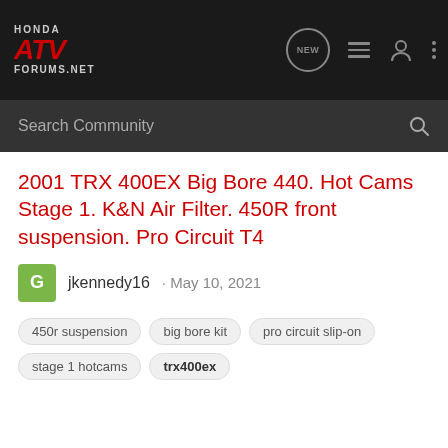HONDA ATV FORUMS.NET
2001 TRX 400EX Big Bore 440. Hot Cams Stage 1. K&N Air Filter. 450R front suspension. Pro Circuit T4
jkennedy16 · May 10, 2021
450r suspension
big bore kit
pro circuit slip-on
stage 1 hotcams
trx400ex